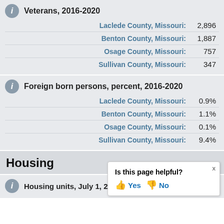Veterans, 2016-2020
| County | Value |
| --- | --- |
| Laclede County, Missouri: | 2,896 |
| Benton County, Missouri: | 1,887 |
| Osage County, Missouri: | 757 |
| Sullivan County, Missouri: | 347 |
Foreign born persons, percent, 2016-2020
| County | Value |
| --- | --- |
| Laclede County, Missouri: | 0.9% |
| Benton County, Missouri: | 1.1% |
| Osage County, Missouri: | 0.1% |
| Sullivan County, Missouri: | 9.4% |
Housing
Housing units, July 1, 2021, (V
Is this page helpful? Yes No